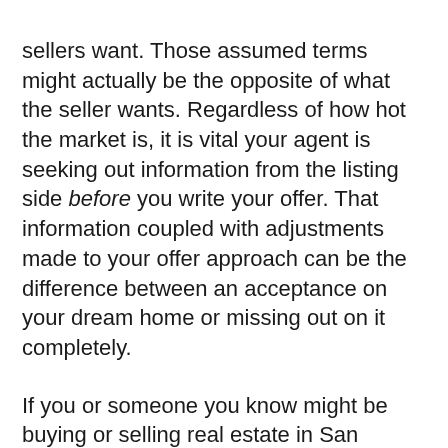sellers want. Those assumed terms might actually be the opposite of what the seller wants. Regardless of how hot the market is, it is vital your agent is seeking out information from the listing side before you write your offer. That information coupled with adjustments made to your offer approach can be the difference between an acceptance on your dream home or missing out on it completely.
If you or someone you know might be buying or selling real estate in San Diego, regardless of location or price point, please let me know. I can also assist in connecting buyers and sellers outside San Diego with outstanding Sotheby's International Realty agents via our